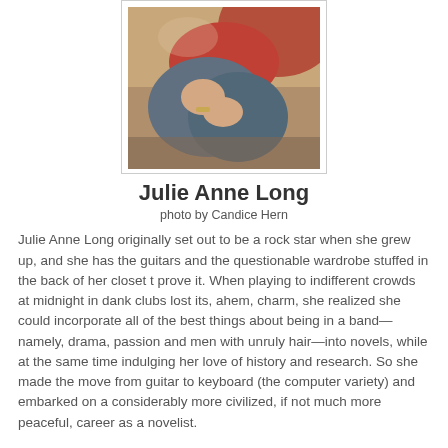[Figure (photo): Photo of Julie Anne Long, a person sitting cross-legged wearing a red top and jeans, photographed from above]
Julie Anne Long
photo by Candice Hern
Julie Anne Long originally set out to be a rock star when she grew up, and she has the guitars and the questionable wardrobe stuffed in the back of her closet t prove it. When playing to indifferent crowds at midnight in dank clubs lost its, ahem, charm, she realized she could incorporate all of the best things about being in a band—namely, drama, passion and men with unruly hair—into novels, while at the same time indulging her love of history and research. So she made the move from guitar to keyboard (the computer variety) and embarked on a considerably more civilized, if not much more peaceful, career as a novelist.